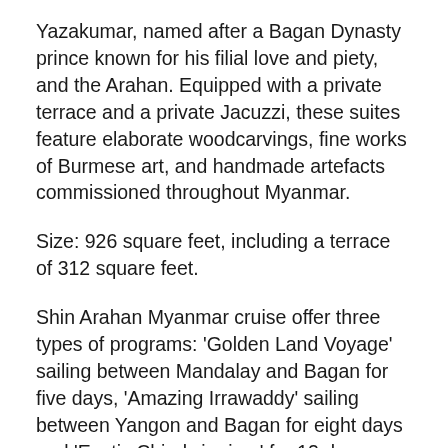Yazakumar, named after a Bagan Dynasty prince known for his filial love and piety, and the Arahan. Equipped with a private terrace and a private Jacuzzi, these suites feature elaborate woodcarvings, fine works of Burmese art, and handmade artefacts commissioned throughout Myanmar.
Size: 926 square feet, including a terrace of 312 square feet.
Shin Arahan Myanmar cruise offer three types of programs: 'Golden Land Voyage' sailing between Mandalay and Bagan for five days, 'Amazing Irrawaddy' sailing between Yangon and Bagan for eight days and 'Exotic Chindwin river' for 12 days sailing between Mandalay and Bagan.
The one first embarking is 'Exotic Chindwin river', 12...